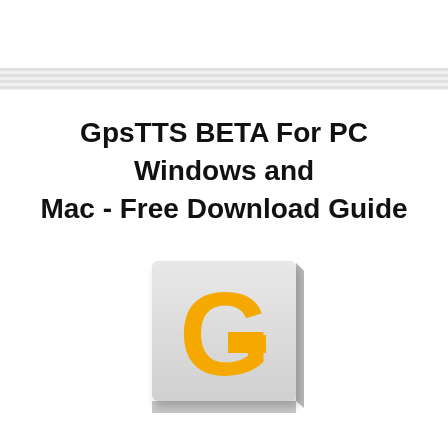GpsTTS BETA For PC Windows and Mac - Free Download Guide
[Figure (logo): App icon showing a large yellow letter G on a light grey 3D square tile with subtle shadow effect]
[Figure (other): Five empty star rating icons arranged horizontally]